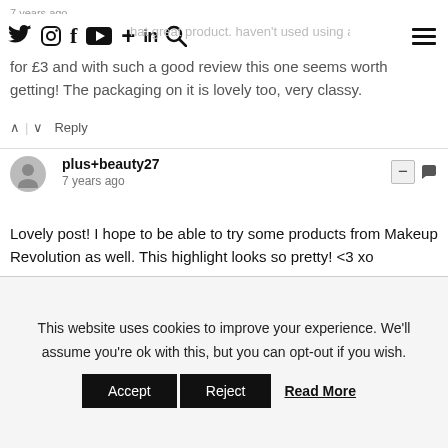Navigation bar with social media icons: Twitter, Instagram, Facebook, YouTube, Plus, LinkedIn, Search, and hamburger menu
that great product. haven't used using a highlighter yet for £3 and with such a good review this one seems worth getting! The packaging on it is lovely too, very classy.
∧ | ∨ Reply
plus+beauty27
7 years ago
Lovely post! I hope to be able to try some products from Makeup Revolution as well. This highlight looks so pretty! <3 xo
∧ | ∨ Reply
Galit Balli
7 years ago
Wonderful shade <3
This website uses cookies to improve your experience. We'll assume you're ok with this, but you can opt-out if you wish. Accept Reject Read More